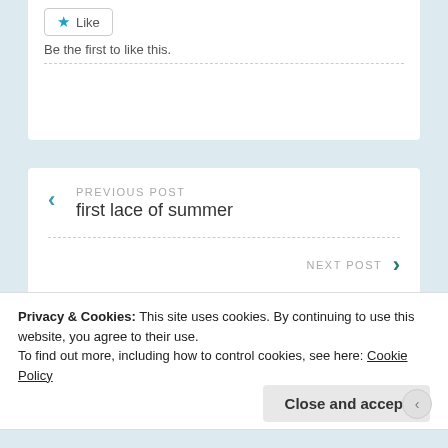Like
Be the first to like this.
PREVIOUS POST
first lace of summer
NEXT POST
Privacy & Cookies: This site uses cookies. By continuing to use this website, you agree to their use.
To find out more, including how to control cookies, see here: Cookie Policy
Close and accept